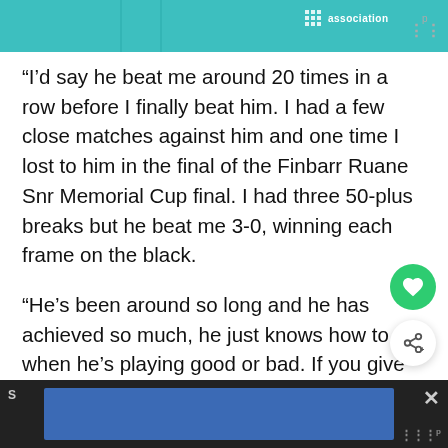[Figure (illustration): Top image bar with teal/turquoise background, partially visible illustration, grid icon, 'association' text, and logo watermark]
“I’d say he beat me around 20 times in a row before I finally beat him. I had a few close matches against him and one time I lost to him in the final of the Finbarr Ruane Snr Memorial Cup final. I had three 50-plus breaks but he beat me 3-0, winning each frame on the black.
“He’s been around so long and he has achieved so much, he just knows how to win when he’s playing good or bad. If you give him an inch, he’ll take a mile. It was such a weight off my shoulders to finally get one over on him.”
[Figure (other): Bottom dark navigation/ad bar with blue advertisement area and close button]